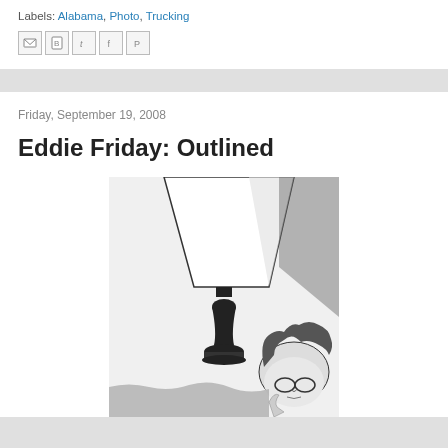Labels: Alabama, Photo, Trucking
[Figure (other): Social sharing icons: email (M), Blogger (B), Twitter (t), Facebook (f), Pinterest (P)]
Friday, September 19, 2008
Eddie Friday: Outlined
[Figure (photo): High-contrast black and white outlined photo showing a person with glasses and curly hair sitting near a lamp with a white shade on a dark stand, against a textured wall.]